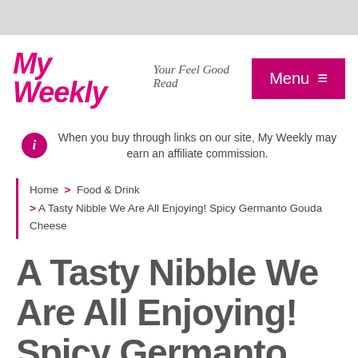My Weekly — Your Feel Good Read | Menu
When you buy through links on our site, My Weekly may earn an affiliate commission.
Home > Food & Drink > A Tasty Nibble We Are All Enjoying! Spicy Germanto Gouda Cheese
A Tasty Nibble We Are All Enjoying! Spicy Germanto Gouda Cheese
By Maggie Smith